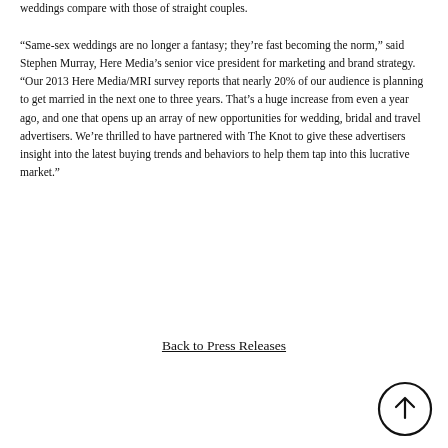weddings compare with those of straight couples.
“Same-sex weddings are no longer a fantasy; they’re fast becoming the norm,” said Stephen Murray, Here Media’s senior vice president for marketing and brand strategy. “Our 2013 Here Media/MRI survey reports that nearly 20% of our audience is planning to get married in the next one to three years. That’s a huge increase from even a year ago, and one that opens up an array of new opportunities for wedding, bridal and travel advertisers. We’re thrilled to have partnered with The Knot to give these advertisers insight into the latest buying trends and behaviors to help them tap into this lucrative market.”
Back to Press Releases
[Figure (other): Upward arrow inside a circle, used as a back-to-top navigation button]